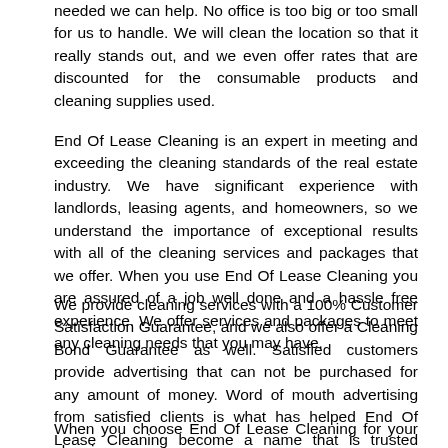needed we can help. No office is too big or too small for us to handle. We will clean the location so that it really stands out, and we even offer rates that are discounted for the consumable products and cleaning supplies used.
End Of Lease Cleaning is an expert in meeting and exceeding the cleaning standards of the real estate industry. We have significant experience with landlords, leasing agents, and homeowners, so we understand the importance of exceptional results with all of the cleaning services and packages that we offer. When you use End Of Lease Cleaning you are assured of a job well done and a hassle free experience. We offer services and packages to meet any cleaning needs that you may have.
We provide cleaning services with a 100% Customer Satisfaction Guarantee, and we also offer a Cleaning Bond Guarantee as well. Satisfied customers provide advertising that can not be purchased for any amount of money. Word of mouth advertising from satisfied clients is what has helped End Of Lease Cleaning become a name that is trusted across Australia.
When you choose End Of Lease Cleaning for your cleaning